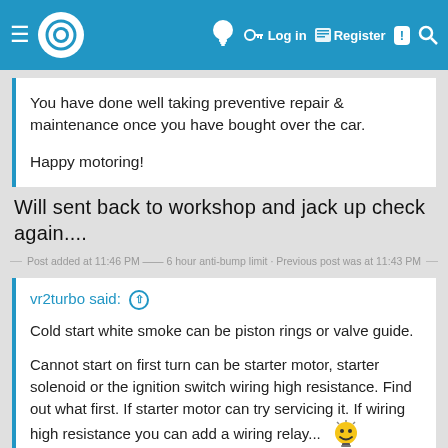Navigation bar with logo, Log in, Register, and Search icons
You have done well taking preventive repair & maintenance once you have bought over the car.

Happy motoring!
Will sent back to workshop and jack up check again....
Post added at 11:46 PM — 6 hour anti-bump limit · Previous post was at 11:43 PM
vr2turbo said: ↑

Cold start white smoke can be piston rings or valve guide.

Cannot start on first turn can be starter motor, starter solenoid or the ignition switch wiring high resistance. Find out what first. If starter motor can try servicing it. If wiring high resistance you can add a wiring relay...